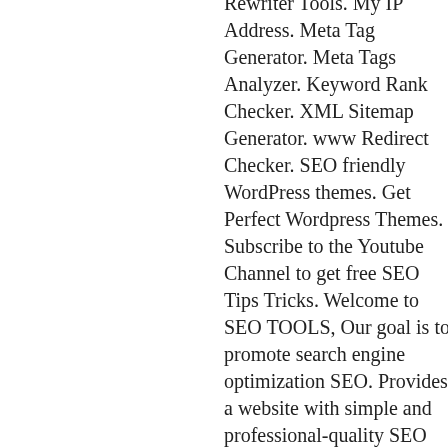Rewriter Tools. My IP Address. Meta Tag Generator. Meta Tags Analyzer. Keyword Rank Checker. XML Sitemap Generator. www Redirect Checker. SEO friendly WordPress themes. Get Perfect Wordpress Themes. Subscribe to the Youtube Channel to get free SEO Tips Tricks. Welcome to SEO TOOLS, Our goal is to promote search engine optimization SEO. Provides a website with simple and professional-quality SEO analysis and important SEO monitoring. Helping thousands of small business owners, webmasters, and SEO professionals increase their online presence by making the tools intuitive and easy to understand.We hope you enjoy our products as much as we enjoy offering them to you.